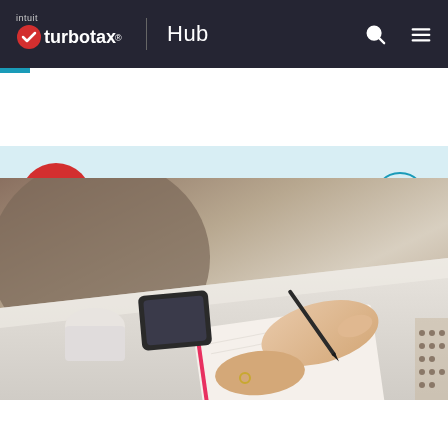intuit turbotax. | Hub
TurboTax Canada
August 30, 2016  |  2 Min Read
[Figure (photo): Person writing in a notebook with a pen at a white desk, with a smartphone and a cup visible in the background]
Contents  2 Minute Read